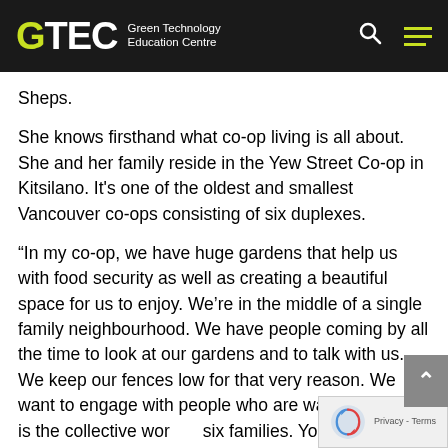GTEC Green Technology Education Centre
Sheps.
She knows firsthand what co-op living is all about.  She and her family reside in the Yew Street Co-op in Kitsilano. It's one of the oldest and smallest Vancouver co-ops consisting of six duplexes.
“In my co-op, we have huge gardens that help us with food security as well as creating a beautiful space for us to enjoy. We’re in the middle of a single family neighbourhood. We have people coming by all the time to look at our gardens and to talk with us. We keep our fences low for that very reason. We want to engage with people who are walking by. This is the collective work of six families. You are seeing their shared effort surprises people at times” says Sheps.